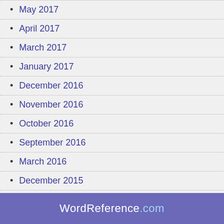May 2017
April 2017
March 2017
January 2017
December 2016
November 2016
October 2016
September 2016
March 2016
December 2015
October 2015
WordReference.com